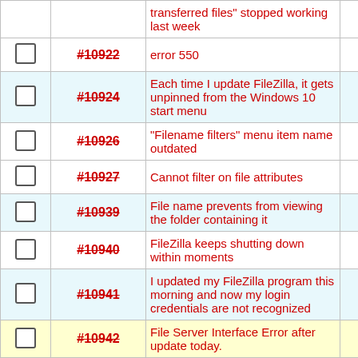|  | ID | Summary |  |
| --- | --- | --- | --- |
| ☐ | #10922 | error 550 |  |
| ☐ | #10924 | Each time I update FileZilla, it gets unpinned from the Windows 10 start menu |  |
| ☐ | #10926 | "Filename filters" menu item name outdated |  |
| ☐ | #10927 | Cannot filter on file attributes |  |
| ☐ | #10939 | File name prevents from viewing the folder containing it |  |
| ☐ | #10940 | FileZilla keeps shutting down within moments |  |
| ☐ | #10941 | I updated my FileZilla program this morning and now my login credentials are not recognized |  |
| ☐ | #10942 | File Server Interface Error after update today. |  |
| ☐ | #10949 | Missing Private Key Locks Site Manager |  |